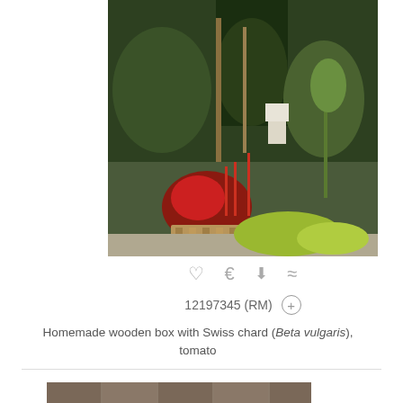[Figure (photo): Garden scene with a homemade wooden box planter containing Swiss chard (Beta vulgaris) with red stems, tomato plants, and other garden plants. Background shows more garden plants, hedges, and outdoor furniture.]
♡  €  ⬇  ≈
12197345 (RM)  ⊕
Homemade wooden box with Swiss chard (Beta vulgaris), tomato
[Figure (photo): Hands working with garden tools and plants, possibly harvesting or arranging, with a wooden fence background.]